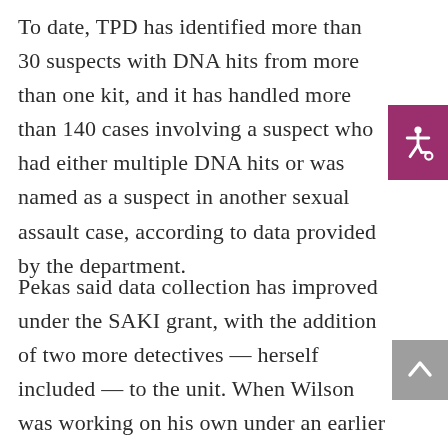To date, TPD has identified more than 30 suspects with DNA hits from more than one kit, and it has handled more than 140 cases involving a suspect who had either multiple DNA hits or was named as a suspect in another sexual assault case, according to data provided by the department.
Pekas said data collection has improved under the SAKI grant, with the addition of two more detectives — herself included — to the unit. When Wilson was working on his own under an earlier grant, he tackled the most urgent cases first, including